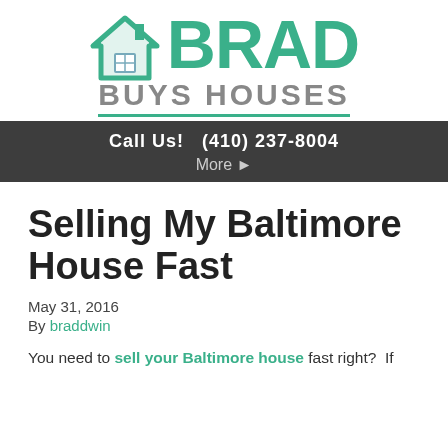[Figure (logo): Brad Buys Houses logo with a green house icon and the text BRAD in large green letters, BUYS HOUSES in gray below with a green underline]
Call Us!  (410) 237-8004
More ▸
Selling My Baltimore House Fast
May 31, 2016
By braddwin
You need to sell your Baltimore house fast right?  If